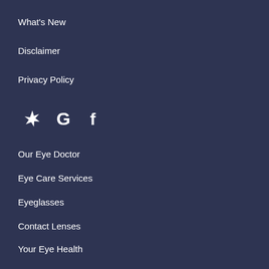What's New
Disclaimer
Privacy Policy
[Figure (infographic): Social media icons: Yelp, Google, Facebook]
Our Eye Doctor
Eye Care Services
Eyeglasses
Contact Lenses
Your Eye Health
Insurance